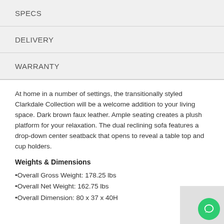SPECS
DELIVERY
WARRANTY
At home in a number of settings, the transitionally styled Clarkdale Collection will be a welcome addition to your living space. Dark brown faux leather. Ample seating creates a plush platform for your relaxation. The dual reclining sofa features a drop-down center seatback that opens to reveal a table top and cup holders.
Weights & Dimensions
•Overall Gross Weight: 178.25 lbs
•Overall Net Weight: 162.75 lbs
•Overall Dimension: 80 x 37 x 40H